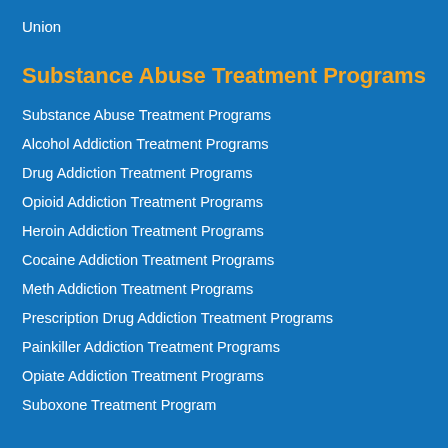Union
Substance Abuse Treatment Programs
Substance Abuse Treatment Programs
Alcohol Addiction Treatment Programs
Drug Addiction Treatment Programs
Opioid Addiction Treatment Programs
Heroin Addiction Treatment Programs
Cocaine Addiction Treatment Programs
Meth Addiction Treatment Programs
Prescription Drug Addiction Treatment Programs
Painkiller Addiction Treatment Programs
Opiate Addiction Treatment Programs
Suboxone Treatment Program